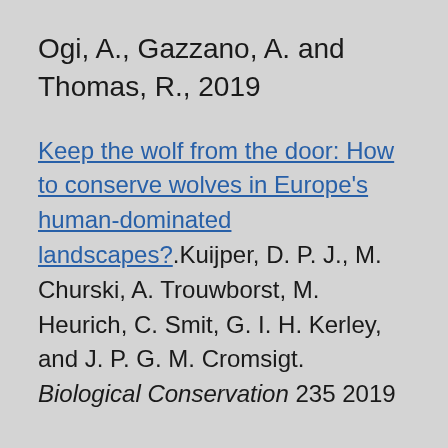Ogi, A., Gazzano, A. and Thomas, R., 2019
Keep the wolf from the door: How to conserve wolves in Europe's human-dominated landscapes?.Kuijper, D. P. J., M. Churski, A. Trouwborst, M. Heurich, C. Smit, G. I. H. Kerley, and J. P. G. M. Cromsigt. Biological Conservation 235 2019